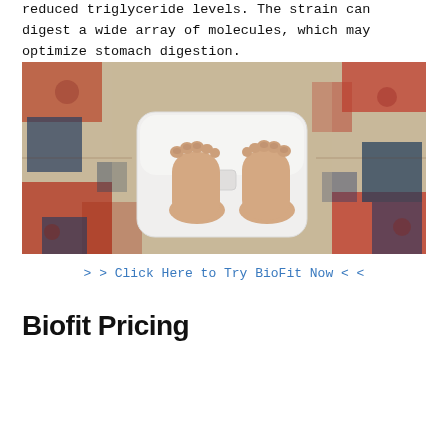reduced triglyceride levels. The strain can digest a wide array of molecules, which may optimize stomach digestion.
[Figure (photo): Overhead view of bare feet standing on a white digital bathroom scale, placed on a colorful Persian/Oriental rug with red, blue, and beige patterns.]
> > Click Here to Try BioFit Now < <
Biofit Pricing